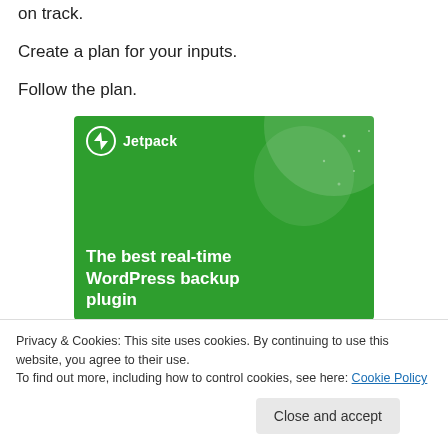on track.
Create a plan for your inputs.
Follow the plan.
[Figure (illustration): Jetpack advertisement banner on green background with logo and text: 'The best real-time WordPress backup plugin']
Privacy & Cookies: This site uses cookies. By continuing to use this website, you agree to their use.
To find out more, including how to control cookies, see here: Cookie Policy
Close and accept